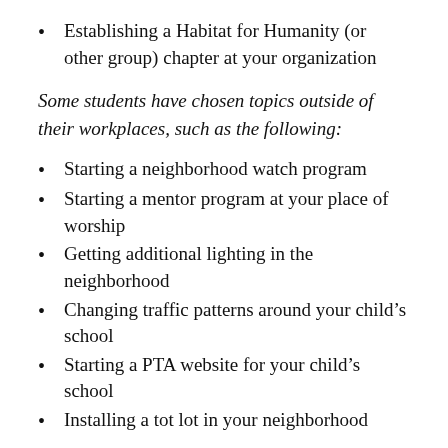Establishing a Habitat for Humanity (or other group) chapter at your organization
Some students have chosen topics outside of their workplaces, such as the following:
Starting a neighborhood watch program
Starting a mentor program at your place of worship
Getting additional lighting in the neighborhood
Changing traffic patterns around your child’s school
Starting a PTA website for your child’s school
Installing a tot lot in your neighborhood